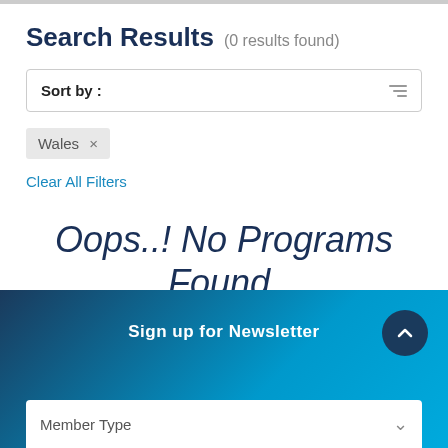Search Results (0 results found)
Sort by:
Wales ×
Clear All Filters
Oops..! No Programs Found.
Sign up for Newsletter
Member Type